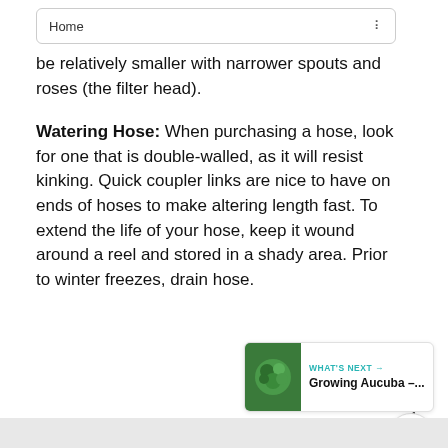Home
be relatively smaller with narrower spouts and roses (the filter head).
Watering Hose: When purchasing a hose, look for one that is double-walled, as it will resist kinking. Quick coupler links are nice to have on ends of hoses to make altering length fast. To extend the life of your hose, keep it wound around a reel and stored in a shady area. Prior to winter freezes, drain hose.
[Figure (other): What's Next card showing Growing Aucuba thumbnail with teal arrow label]